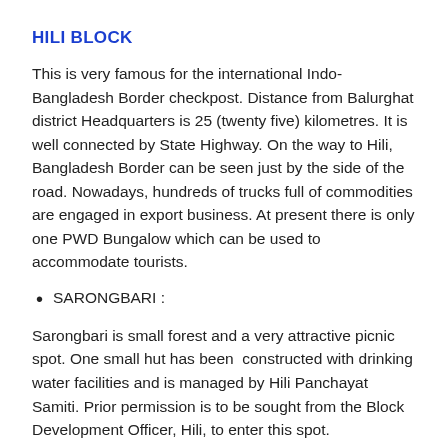HILI BLOCK
This is very famous for the international Indo-Bangladesh Border checkpost. Distance from Balurghat district Headquarters is 25 (twenty five) kilometres. It is well connected by State Highway. On the way to Hili, Bangladesh Border can be seen just by the side of the road. Nowadays, hundreds of trucks full of commodities are engaged in export business. At present there is only one PWD Bungalow which can be used to accommodate tourists.
SARONGBARI :
Sarongbari is small forest and a very attractive picnic spot. One small hut has been constructed with drinking water facilities and is managed by Hili Panchayat Samiti. Prior permission is to be sought from the Block Development Officer, Hili, to enter this spot.